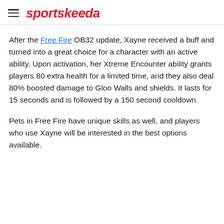≡ sportskeeda
After the Free Fire OB32 update, Xayne received a buff and turned into a great choice for a character with an active ability. Upon activation, her Xtreme Encounter ability grants players 80 extra health for a limited time, and they also deal 80% boosted damage to Gloo Walls and shields. It lasts for 15 seconds and is followed by a 150 second cooldown.
Pets in Free Fire have unique skills as well, and players who use Xayne will be interested in the best options available.